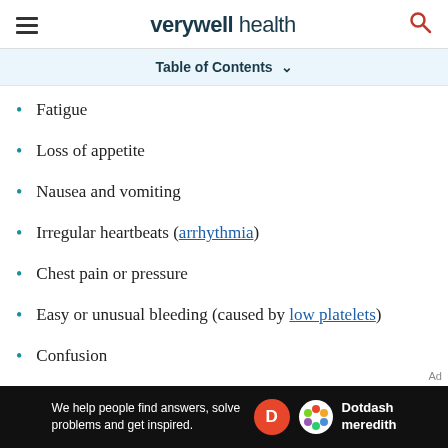verywell health
Table of Contents
Fatigue
Loss of appetite
Nausea and vomiting
Irregular heartbeats (arrhythmia)
Chest pain or pressure
Easy or unusual bleeding (caused by low platelets)
Confusion
[Figure (other): Dotdash Meredith advertisement banner at the bottom of the page]